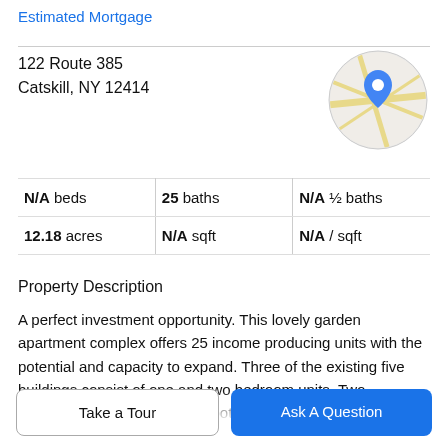Estimated Mortgage
122 Route 385
Catskill, NY 12414
[Figure (map): Circular map thumbnail showing road map with a blue location pin marker]
| Beds | Baths | Half Baths |
| --- | --- | --- |
| N/A beds | 25 baths | N/A ½ baths |
| 12.18 acres | N/A sqft | N/A / sqft |
Property Description
A perfect investment opportunity. This lovely garden apartment complex offers 25 income producing units with the potential and capacity to expand. Three of the existing five buildings consist of one and two bedroom units. Two additional buildings have the potential to add 12 more
Take a Tour
Ask A Question